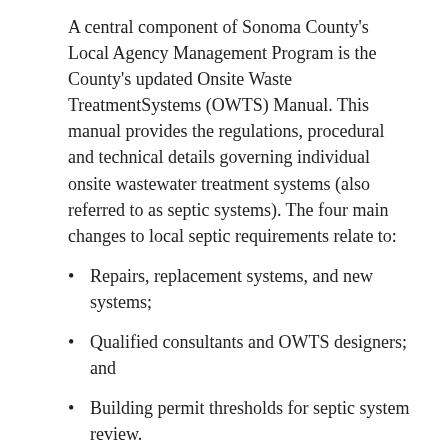A central component of Sonoma County's Local Agency Management Program is the County's updated Onsite Waste TreatmentSystems (OWTS) Manual. This manual provides the regulations, procedural and technical details governing individual onsite wastewater treatment systems (also referred to as septic systems). The four main changes to local septic requirements relate to:
Repairs, replacement systems, and new systems;
Qualified consultants and OWTS designers; and
Building permit thresholds for septic system review.
The approved changes to the OWTS Manual takes effect July 1, 2019, but it could be another five years before all systems are in place to clean up the problem that impacts water quality along the Russian River and all tributaries leading to the river.
TMDL stands for Total Maximum Daily Load
What that means is how much human waste can the river